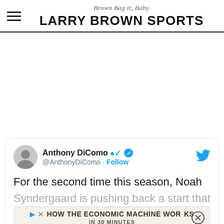Brown Bag it, Baby — LARRY BROWN SPORTS
[Figure (screenshot): Tweet card from Anthony DiComo (@AnthonyDiComo) with verified badge and Follow button. Tweet text begins: 'For the second time this season, Noah Syndergaard is pushing back a start that wou...' An advertisement banner overlays the bottom of the card: 'HOW THE ECONOMIC MACHINE WORKS IN 30 MINUTES']